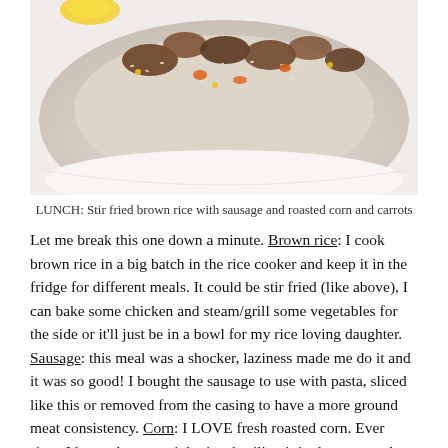[Figure (photo): Close-up photo of stir fried brown rice with sausage, roasted corn and carrots on a white plate]
LUNCH: Stir fried brown rice with sausage and roasted corn and carrots
Let me break this one down a minute. Brown rice: I cook brown rice in a big batch in the rice cooker and keep it in the fridge for different meals. It could be stir fried (like above), I can bake some chicken and steam/grill some vegetables for the side or it’ll just be in a bowl for my rice loving daughter. Sausage: this meal was a shocker, laziness made me do it and it was so good! I bought the sausage to use with pasta, sliced like this or removed from the casing to have a more ground meat consistency. Corn: I LOVE fresh roasted corn. Ever since I learned to roast it by just broiling it in the oven and turning it until each side is a little brown, I can’t do corn from the tin. If there’s extra, I always keep it in the fridge to throw in salads or other meals. It’s about the versatility of the groceries you’re buying, and getting sick of the same thing all the